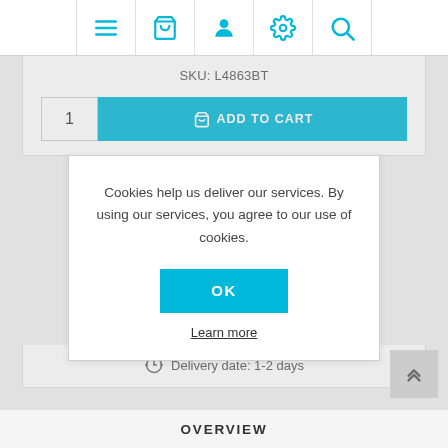[Figure (screenshot): E-commerce website navigation bar with icons: hamburger menu, shopping basket, user profile, settings gear, and search magnifier, all in cyan/teal color]
SKU: L4863BT
[Figure (screenshot): Add to cart row with quantity input showing '1' and cyan ADD TO CART button with basket icon]
Cookies help us deliver our services. By using our services, you agree to our use of cookies.
[Figure (screenshot): OK button (cyan) and Learn more link in cookie consent modal dialog]
Delivery date: 1-2 days
OVERVIEW